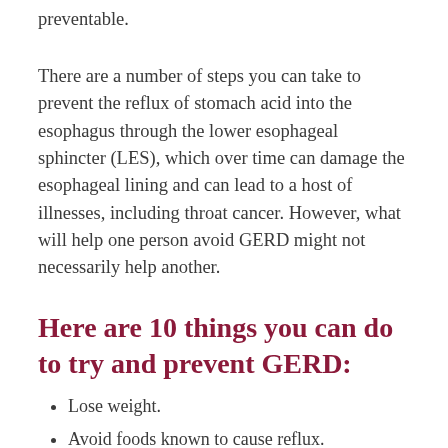preventable.
There are a number of steps you can take to prevent the reflux of stomach acid into the esophagus through the lower esophageal sphincter (LES), which over time can damage the esophageal lining and can lead to a host of illnesses, including throat cancer. However, what will help one person avoid GERD might not necessarily help another.
Here are 10 things you can do to try and prevent GERD:
Lose weight.
Avoid foods known to cause reflux.
Eat smaller meals.
Don't lie down after eating.
Elevate your bed. Raising the head of